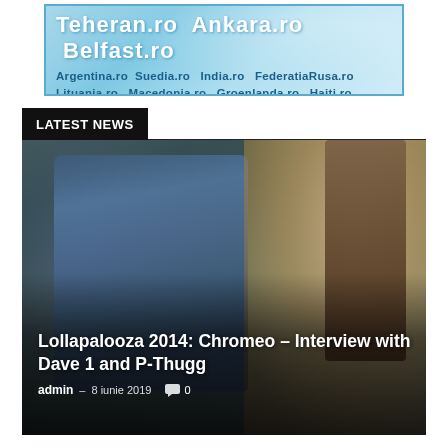[Figure (other): Website banner advertisement showing country domain names: Teheran.ro, Ankara.ro, Belfast.ro, Argentina.ro, Suedia.ro, India.ro, FederatiaRusa.ro, Lituania.ro, Macedonia.ro, Groenlanda.ro, Haiti.ro]
LATEST NEWS
[Figure (photo): Photo of a young man sitting outdoors wearing a blue plaid shirt and jeans with a watch and bracelet, with trees and blurred background]
Lollapalooza 2014: Chromeo – Interview with Dave 1 and P-Thugg
admin - 8 iunie 2019  0